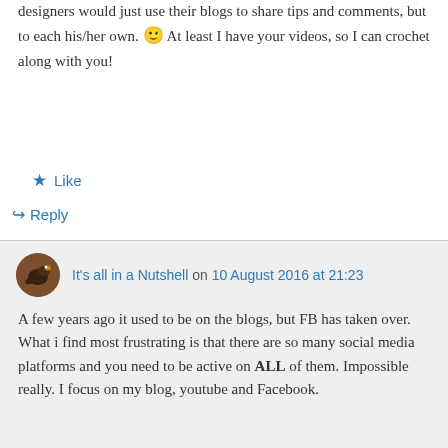designers would just use their blogs to share tips and comments, but to each his/her own. 🙂 At least I have your videos, so I can crochet along with you!
★ Like
↪ Reply
It's all in a Nutshell on 10 August 2016 at 21:23
A few years ago it used to be on the blogs, but FB has taken over. What i find most frustrating is that there are so many social media platforms and you need to be active on ALL of them. Impossible really. I focus on my blog, youtube and Facebook.